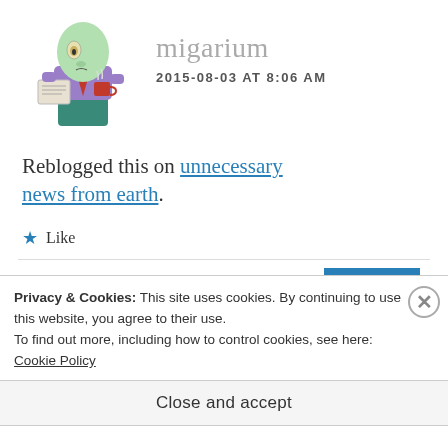[Figure (illustration): Cartoon alien character wearing a suit, reading a newspaper and holding a red coffee cup]
migarium
2015-08-03 AT 8:06 AM
Reblogged this on unnecessary news from earth.
★ Like
REPLY
Contonaire de
Privacy & Cookies: This site uses cookies. By continuing to use this website, you agree to their use.
To find out more, including how to control cookies, see here: Cookie Policy
Close and accept